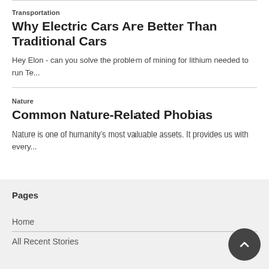Transportation
Why Electric Cars Are Better Than Traditional Cars
Hey Elon - can you solve the problem of mining for lithium needed to run Te...
Nature
Common Nature-Related Phobias
Nature is one of humanity's most valuable assets. It provides us with every...
Pages
Home
All Recent Stories